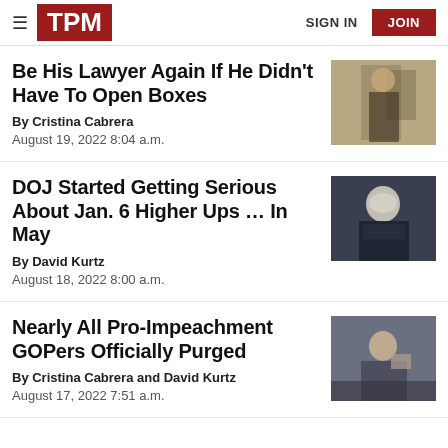TPM — SIGN IN | JOIN
Be His Lawyer Again If He Didn't Have To Open Boxes
By Cristina Cabrera
August 19, 2022 8:04 a.m.
[Figure (photo): Person in dark suit holding documents]
DOJ Started Getting Serious About Jan. 6 Higher Ups … In May
By David Kurtz
August 18, 2022 8:00 a.m.
[Figure (photo): Older man with white/gray hair looking upward]
Nearly All Pro-Impeachment GOPers Officially Purged
By Cristina Cabrera and David Kurtz
August 17, 2022 7:51 a.m.
[Figure (photo): Man sitting at a hearing table, looking thoughtful]